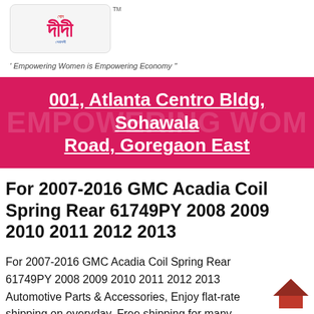[Figure (logo): Didi brand logo with Bengali text, pink and multicolor, on a light gray rounded rectangle background, with TM superscript]
' Empowering Women is Empowering Economy "
[Figure (infographic): Pink/magenta banner with text '001, Atlanta Centro Bldg, Sohawala Road, Goregaon East' overlaid on watermark text 'EMPOWERING WOM']
For 2007-2016 GMC Acadia Coil Spring Rear 61749PY 2008 2009 2010 2011 2012 2013
For 2007-2016 GMC Acadia Coil Spring Rear 61749PY 2008 2009 2010 2011 2012 2013 Automotive Parts & Accessories, Enjoy flat-rate shipping on everyday. Free shipping for many products Find many great new & used options and get the best deals for For 2007-2016 GMC Acadia Coil Spring Rear